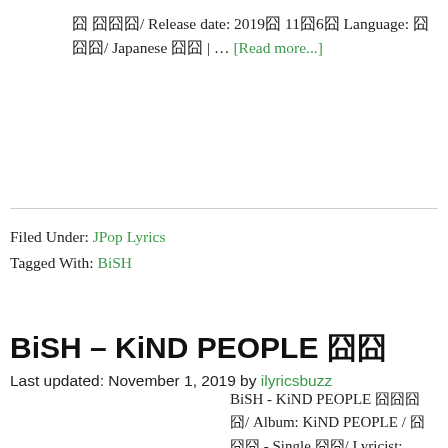囧 囧囧囧/ Release date: 2019囧 11囧6囧 Language: 囧囧囧/ Japanese 囧囧 | … [Read more...]
Filed Under: JPop Lyrics
Tagged With: BiSH
BiSH – KiND PEOPLE 囧囧
Last updated: November 1, 2019 by ilyricsbuzz
BiSH - KiND PEOPLE 囧囧囧囧/ Album: KiND PEOPLE / 囧囧囧 - Single 囧囧/ Lyricist: JxSxK 囧